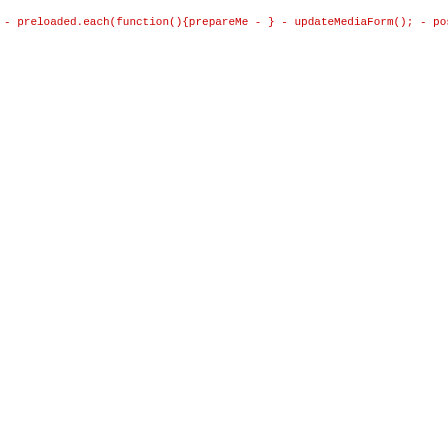Code diff showing removed lines (red, prefixed with -) and added lines (green, prefixed with +) in a PHP/JavaScript file.